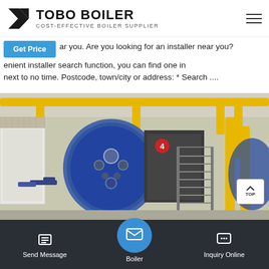[Figure (logo): TOBO BOILER logo with black geometric icon and text 'TOBO BOILER / COST-EFFECTIVE BOILER SUPPLIER']
ar you. Are you looking for an installer near you? enient installer search function, you can find one in next to no time. Postcode, town/city or address: * Search ....
[Figure (photo): Industrial boiler room with large blue cylindrical boilers, yellow pipework, metal staircase and grating, numbered boiler unit 4 visible]
WhatsApp
Boiler
Send Message
Inquiry Online